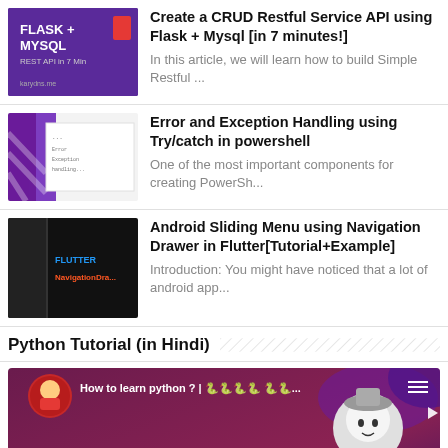[Figure (screenshot): Thumbnail for Flask + MySQL REST API article - purple background with Flask logo and MySQL text]
Create a CRUD Restful Service API using Flask + Mysql [in 7 minutes!]
In this article, we will learn how to build Simple Restful ...
[Figure (screenshot): Thumbnail for PowerShell error handling article - purple with code screenshot]
Error and Exception Handling using Try/catch in powershell
One of the most important components for creating PowerSh...
[Figure (screenshot): Thumbnail for Android Sliding Menu Flutter article - dark background with FLUTTER text]
Android Sliding Menu using Navigation Drawer in Flutter[Tutorial+Example]
Introduction: You might have noticed that a lot of android app...
Python Tutorial (in Hindi)
[Figure (screenshot): YouTube video thumbnail: How to learn python? | Python for Beginners - 5 Things to know before you get started, with animated character and YouTube play button overlay]